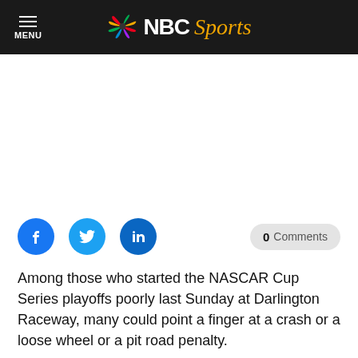MENU | NBC Sports
[Figure (other): Advertisement/blank white area]
0 Comments (social share buttons: Facebook, Twitter, LinkedIn)
Among those who started the NASCAR Cup Series playoffs poorly last Sunday at Darlington Raceway, many could point a finger at a crash or a loose wheel or a pit road penalty.
Tyler Reddick, who salvaged an 18th-place finish in his playoff debut, was different.